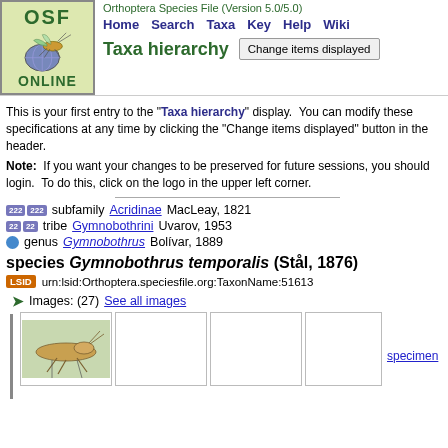Orthoptera Species File (Version 5.0/5.0) Home Search Taxa Key Help Wiki
Taxa hierarchy
This is your first entry to the "Taxa hierarchy" display. You can modify these specifications at any time by clicking the "Change items displayed" button in the header.
Note: If you want your changes to be preserved for future sessions, you should login. To do this, click on the logo in the upper left corner.
subfamily Acridinae MacLeay, 1821
tribe Gymnobothrini Uvarov, 1953
genus Gymnobothrus Bolívar, 1889
species Gymnobothrus temporalis (Stål, 1876)
urn:lsid:Orthoptera.speciesfile.org:TaxonName:51613
Images: (27) See all images
[Figure (photo): Thumbnail photos of Gymnobothrus temporalis specimen, with link to specimen page]